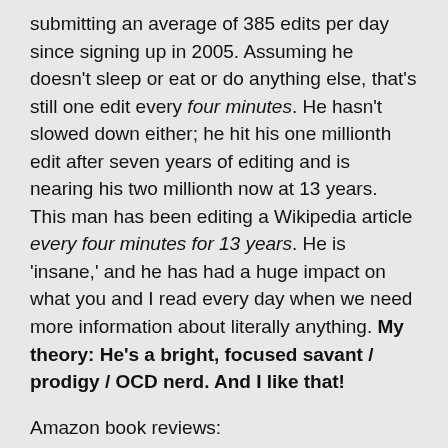submitting an average of 385 edits per day since signing up in 2005. Assuming he doesn't sleep or eat or do anything else, that's still one edit every four minutes. He hasn't slowed down either; he hit his one millionth edit after seven years of editing and is nearing his two millionth now at 13 years. This man has been editing a Wikipedia article every four minutes for 13 years. He is 'insane,' and he has had a huge impact on what you and I read every day when we need more information about literally anything. My theory: He's a bright, focused savant / prodigy / OCD nerd. And I like that!
Amazon book reviews:
One book reviewer, Grady Harp, has written 20 800 reviews since 2011. That's just under 3,000 reviews per year, which comes out to around eight per day. This man has written an average of eight book reviews on Amazon per day